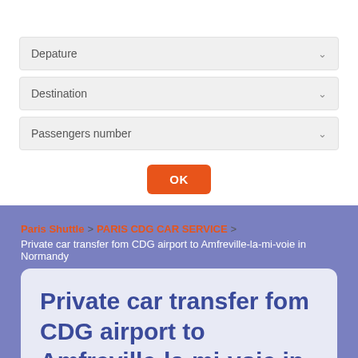[Figure (screenshot): Web booking form with three dropdown fields: Depature, Destination, Passengers number, and an OK button]
Paris Shuttle > PARIS CDG CAR SERVICE > Private car transfer fom CDG airport to Amfreville-la-mi-voie in Normandy
Private car transfer fom CDG airport to Amfreville-la-mi-voie in Normandy